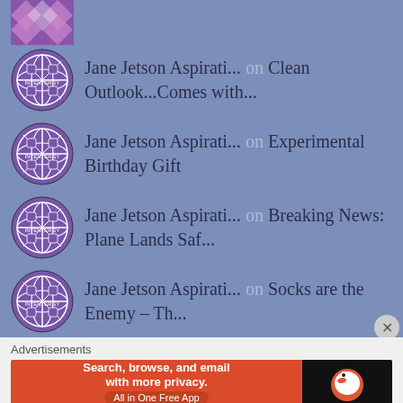[Figure (logo): Partial checkered/diamond pattern avatar at top left]
Jane Jetson Aspirati... on Clean Outlook...Comes with...
Jane Jetson Aspirati... on Experimental Birthday Gift
Jane Jetson Aspirati... on Breaking News: Plane Lands Saf...
Jane Jetson Aspirati... on Socks are the Enemy – Th...
Advertisements
[Figure (screenshot): DuckDuckGo advertisement banner: Search, browse, and email with more privacy. All in One Free App]